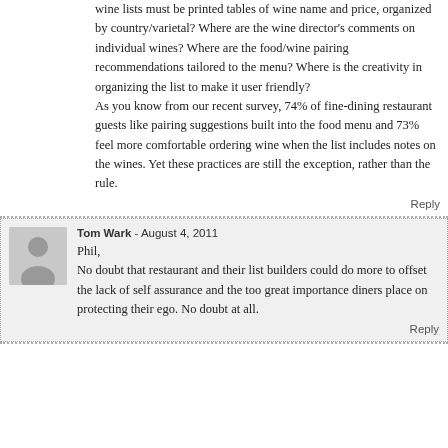wine lists must be printed tables of wine name and price, organized by country/varietal? Where are the wine director's comments on individual wines? Where are the food/wine pairing recommendations tailored to the menu? Where is the creativity in organizing the list to make it user friendly?
As you know from our recent survey, 74% of fine-dining restaurant guests like pairing suggestions built into the food menu and 73% feel more comfortable ordering wine when the list includes notes on the wines. Yet these practices are still the exception, rather than the rule.
Reply
Tom Wark - August 4, 2011
Phil,
No doubt that restaurant and their list builders could do more to offset the lack of self assurance and the too great importance diners place on protecting their ego. No doubt at all.
Reply